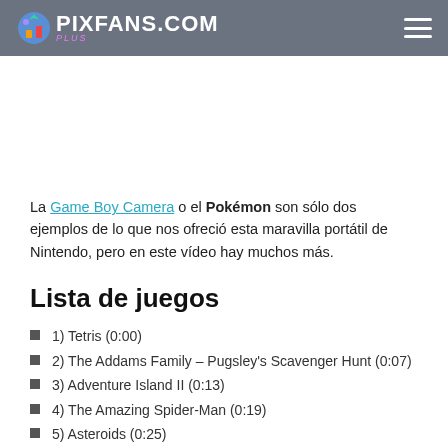PIXFANS.COM
La Game Boy Camera o el Pokémon son sólo dos ejemplos de lo que nos ofreció esta maravilla portátil de Nintendo, pero en este vídeo hay muchos más.
Lista de juegos
1) Tetris (0:00)
2) The Addams Family – Pugsley's Scavenger Hunt (0:07)
3) Adventure Island II (0:13)
4) The Amazing Spider-Man (0:19)
5) Asteroids (0:25)
6) Batman (0:31)